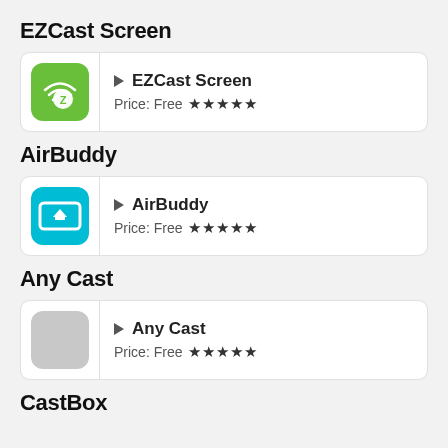EZCast Screen
[Figure (screenshot): EZCast Screen app card with green icon showing WiFi/cast symbol with letter Z, app name with play arrow, price Free and 5 stars]
AirBuddy
[Figure (screenshot): AirBuddy app card with cyan/blue icon showing AirPlay triangle symbol, app name with play arrow, price Free and 5 stars]
Any Cast
[Figure (screenshot): Any Cast app card with gray placeholder icon, app name with play arrow, price Free and 5 stars]
CastBox